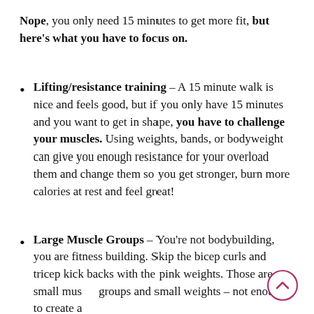Nope, you only need 15 minutes to get more fit, but here's what you have to focus on.
Lifting/resistance training – A 15 minute walk is nice and feels good, but if you only have 15 minutes and you want to get in shape, you have to challenge your muscles. Using weights, bands, or bodyweight can give you enough resistance for your overload them and change them so you get stronger, burn more calories at rest and feel great!
Large Muscle Groups – You're not bodybuilding, you are fitness building. Skip the bicep curls and tricep kick backs with the pink weights. Those are small muscle groups and small weights – not enough to create a